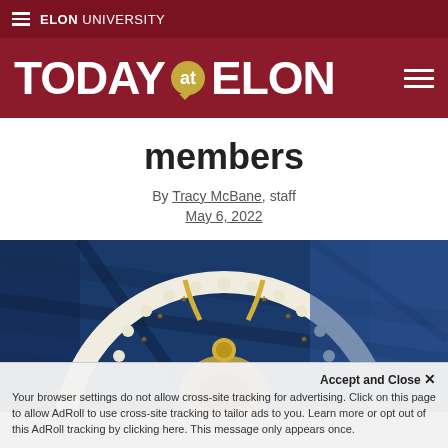ELON UNIVERSITY
TODAY at ELON
members
By Tracy McBane, staff
May 6, 2022
[Figure (photo): Close-up photo of blue and gold military or honor society medals with gear-like decorative border elements on a blue fabric background]
Accept and Close ✕
Your browser settings do not allow cross-site tracking for advertising. Click on this page to allow AdRoll to use cross-site tracking to tailor ads to you. Learn more or opt out of this AdRoll tracking by clicking here. This message only appears once.